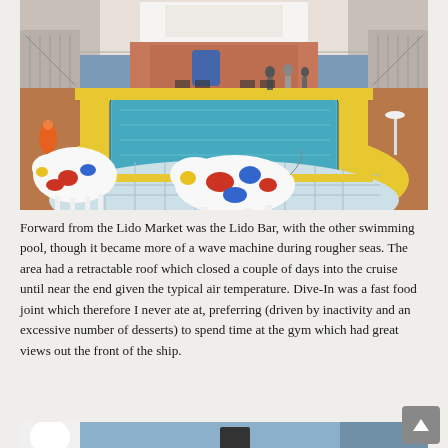[Figure (photo): Cruise ship lido deck with a rectangular swimming pool surrounded by yellow tile, two colorful cow sculptures in the foreground, stairs and upper decks visible in the background.]
Forward from the Lido Market was the Lido Bar, with the other swimming pool, though it became more of a wave machine during rougher seas. The area had a retractable roof which closed a couple of days into the cruise until near the end given the typical air temperature. Dive-In was a fast food joint which therefore I never ate at, preferring (driven by inactivity and an excessive number of desserts) to spend time at the gym which had great views out the front of the ship.
[Figure (photo): Partial view of cruise ship exterior with white structures and blue sky visible at the bottom of the page.]